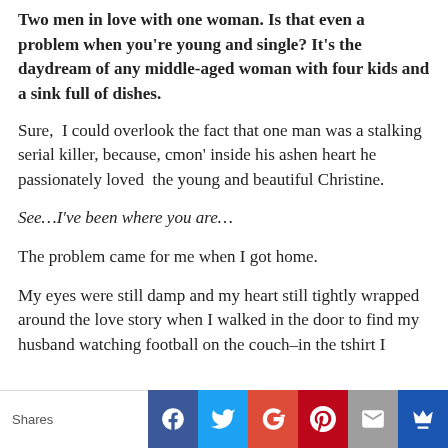Two men in love with one woman. Is that even a problem when you're young and single? It's the daydream of any middle-aged woman with four kids and a sink full of dishes.
Sure,  I could overlook the fact that one man was a stalking serial killer, because, cmon' inside his ashen heart he passionately loved  the young and beautiful Christine.
See…I've been where you are…
The problem came for me when I got home.
My eyes were still damp and my heart still tightly wrapped around the love story when I walked in the door to find my husband watching football on the couch–in the tshirt I
Shares